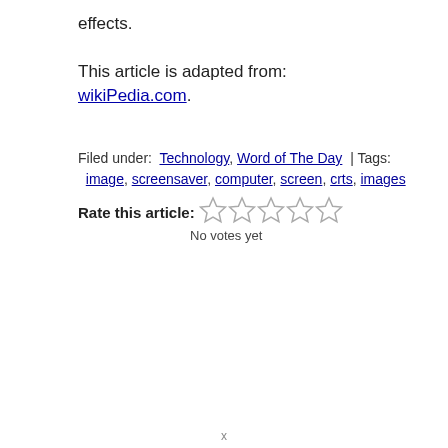effects.
This article is adapted from: wikiPedia.com.
Filed under:  Technology, Word of The Day  | Tags: image, screensaver, computer, screen, crts, images
[Figure (other): Rate this article: 5 empty star rating icons with label 'No votes yet']
x